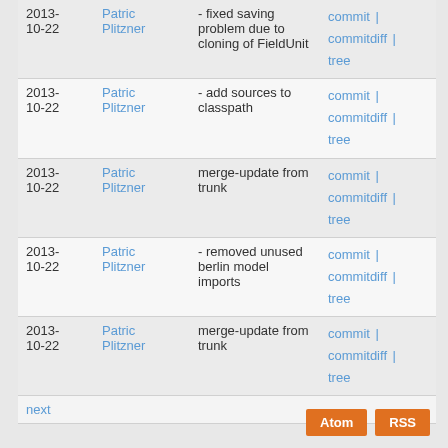| Date | Author | Message | Links |
| --- | --- | --- | --- |
| 2013-10-22 | Patric Plitzner | - fixed saving problem due to cloning of FieldUnit | commit | commitdiff | tree |
| 2013-10-22 | Patric Plitzner | - add sources to classpath | commit | commitdiff | tree |
| 2013-10-22 | Patric Plitzner | merge-update from trunk | commit | commitdiff | tree |
| 2013-10-22 | Patric Plitzner | - removed unused berlin model imports | commit | commitdiff | tree |
| 2013-10-22 | Patric Plitzner | merge-update from trunk | commit | commitdiff | tree |
|  |  | next |  |
Atom
RSS